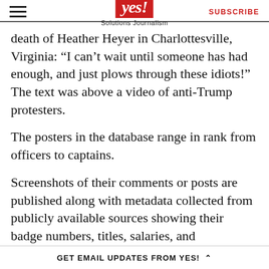yes! Solutions Journalism | SUBSCRIBE
death of Heather Heyer in Charlottesville, Virginia: “I can’t wait until someone has had enough, and just plows through these idiots!” The text was above a video of anti-Trump protesters.
The posters in the database range in rank from officers to captains.
Screenshots of their comments or posts are published along with metadata collected from publicly available sources showing their badge numbers, titles, salaries, and employment status—current or former.
The site also provides a link to officers’ Facebook
GET EMAIL UPDATES FROM YES! ‸